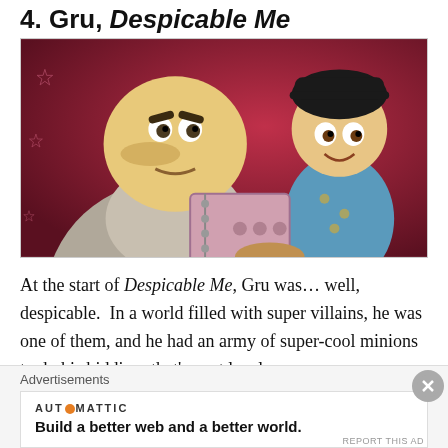4. Gru, Despicable Me
[Figure (photo): Animated scene from Despicable Me showing Gru (large bald villain in grey turtleneck sweater) and Agnes (small girl with black hair and cap wearing a blue bear-print outfit) looking at a notebook/tablet together, against a pink/red starry background.]
At the start of Despicable Me, Gru was… well, despicable.  In a world filled with super villains, he was one of them, and he had an army of super-cool minions to do his bidding: that's next level
Advertisements
AUTOMATTIC
Build a better web and a better world.